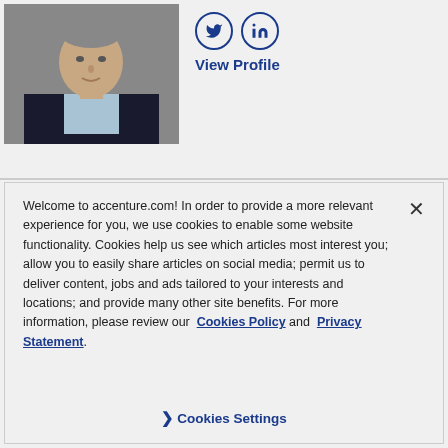[Figure (photo): Professional headshot of a man in a dark suit and light blue shirt, gray background]
[Figure (other): Twitter and LinkedIn social media icons (circles with bird and 'in' logos) and a 'View Profile' link in blue]
Welcome to accenture.com! In order to provide a more relevant experience for you, we use cookies to enable some website functionality. Cookies help us see which articles most interest you; allow you to easily share articles on social media; permit us to deliver content, jobs and ads tailored to your interests and locations; and provide many other site benefits. For more information, please review our Cookies Policy and Privacy Statement.
❯ Cookies Settings